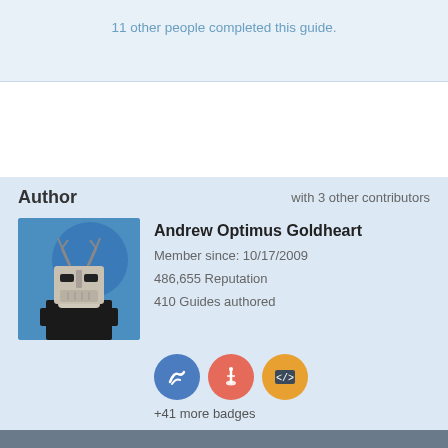11 other people completed this guide.
Author
with 3 other contributors
[Figure (photo): Profile photo of Andrew Optimus Goldheart wearing a robotic mask with blue background]
Andrew Optimus Goldheart
Member since: 10/17/2009
486,655 Reputation
410 Guides authored
[Figure (illustration): Three badge icons: blue circle with squiggle, red circle with sword/wand, orange circle with code brackets]
+41 more badges